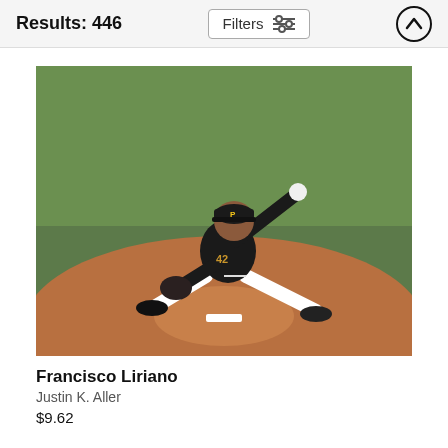Results: 446
[Figure (photo): Baseball pitcher Francisco Liriano in black Pittsburgh Pirates uniform mid-windup on the pitcher's mound at a baseball stadium with green outfield grass visible in background.]
Francisco Liriano
Justin K. Aller
$9.62